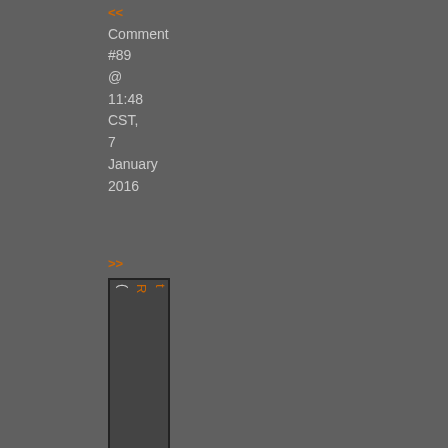<< Comment #89 @ 11:48 CST, 7 January 2016
>>
[Figure (screenshot): Thumbnail/cropped screenshot with orange text links, shown rotated/vertical]
<< Comment #88 @ 11:14 CST, 7 January 2016
>>
[Figure (screenshot): Thumbnail showing text 'nk, eply) By' with Dutch flag icon and 'Me']